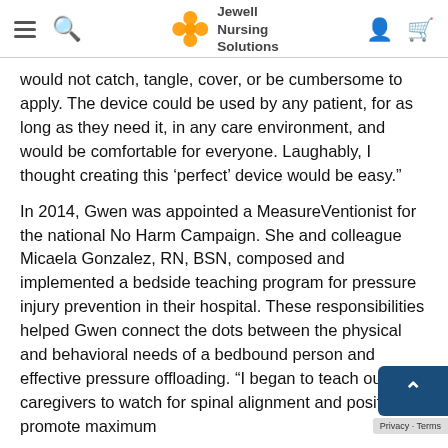Jewell Nursing Solutions
would not catch, tangle, cover, or be cumbersome to apply. The device could be used by any patient, for as long as they need it, in any care environment, and would be comfortable for everyone. Laughably, I thought creating this ‘perfect’ device would be easy.”
In 2014, Gwen was appointed a MeasureVentionist for the national No Harm Campaign. She and colleague Micaela Gonzalez, RN, BSN, composed and implemented a bedside teaching program for pressure injury prevention in their hospital. These responsibilities helped Gwen connect the dots between the physical and behavioral needs of a bedbound person and effective pressure offloading. “I began to teach our caregivers to watch for spinal alignment and position to promote maximum